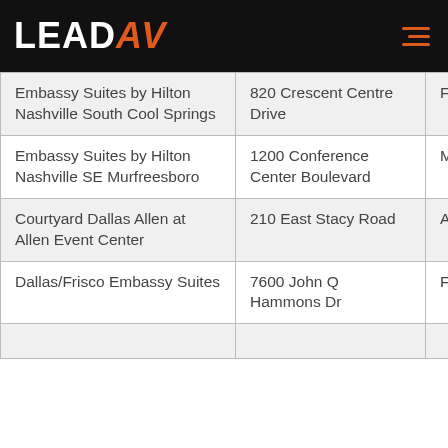LEADAV
| Name | Address | City | State |
| --- | --- | --- | --- |
| Embassy Suites by Hilton Nashville South Cool Springs | 820 Crescent Centre Drive | Franklin | TN |
| Embassy Suites by Hilton Nashville SE Murfreesboro | 1200 Conference Center Boulevard | Murfreesboro | TN |
| Courtyard Dallas Allen at Allen Event Center | 210 East Stacy Road | Allen | TX |
| Dallas/Frisco Embassy Suites | 7600 John Q Hammons Dr | Frisco | TX |